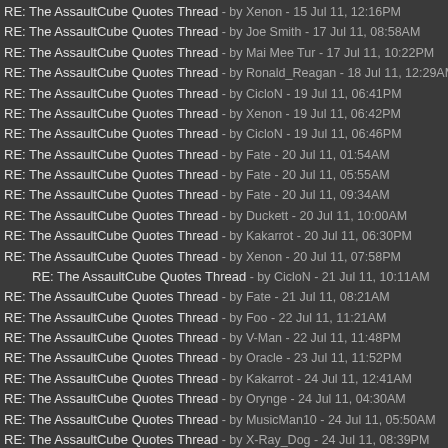RE: The AssaultCube Quotes Thread - by Xenon - 15 Jul 11, 12:16PM
RE: The AssaultCube Quotes Thread - by Joe Smith - 17 Jul 11, 08:58AM
RE: The AssaultCube Quotes Thread - by Mai Mee Tur - 17 Jul 11, 10:22PM
RE: The AssaultCube Quotes Thread - by Ronald_Reagan - 18 Jul 11, 12:29AM
RE: The AssaultCube Quotes Thread - by CicloN - 19 Jul 11, 06:41PM
RE: The AssaultCube Quotes Thread - by Xenon - 19 Jul 11, 06:42PM
RE: The AssaultCube Quotes Thread - by CicloN - 19 Jul 11, 06:46PM
RE: The AssaultCube Quotes Thread - by Fate - 20 Jul 11, 01:54AM
RE: The AssaultCube Quotes Thread - by Fate - 20 Jul 11, 05:55AM
RE: The AssaultCube Quotes Thread - by Fate - 20 Jul 11, 09:34AM
RE: The AssaultCube Quotes Thread - by Duckett - 20 Jul 11, 10:00AM
RE: The AssaultCube Quotes Thread - by Kakarrot - 20 Jul 11, 06:30PM
RE: The AssaultCube Quotes Thread - by Xenon - 20 Jul 11, 07:58PM
RE: The AssaultCube Quotes Thread - by CicloN - 21 Jul 11, 10:11AM
RE: The AssaultCube Quotes Thread - by Fate - 21 Jul 11, 08:21AM
RE: The AssaultCube Quotes Thread - by Foo - 22 Jul 11, 11:21AM
RE: The AssaultCube Quotes Thread - by V-Man - 22 Jul 11, 11:48PM
RE: The AssaultCube Quotes Thread - by Oracle - 23 Jul 11, 11:52PM
RE: The AssaultCube Quotes Thread - by Kakarrot - 24 Jul 11, 12:41AM
RE: The AssaultCube Quotes Thread - by Orynge - 24 Jul 11, 04:30AM
RE: The AssaultCube Quotes Thread - by MusicMan10 - 24 Jul 11, 05:50AM
RE: The AssaultCube Quotes Thread - by X-Ray_Dog - 24 Jul 11, 08:39PM
RE: The AssaultCube Quotes Thread - by Viper - 24 Jul 11, 09:04PM
RE: The AssaultCube Quotes Thread - by Kakarrot - 24 Jul 11, 10:05PM
RE: The AssaultCube Quotes Thread - by Waffles - 25 Jul 11, 03:00AM